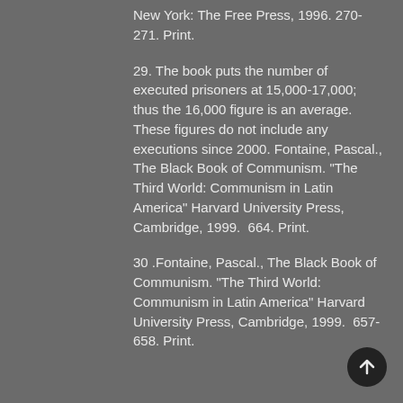New York: The Free Press, 1996. 270-271. Print.
29. The book puts the number of executed prisoners at 15,000-17,000; thus the 16,000 figure is an average. These figures do not include any executions since 2000. Fontaine, Pascal., The Black Book of Communism. "The Third World: Communism in Latin America" Harvard University Press, Cambridge, 1999.  664. Print.
30 .Fontaine, Pascal., The Black Book of Communism. "The Third World: Communism in Latin America" Harvard University Press, Cambridge, 1999.  657-658. Print.